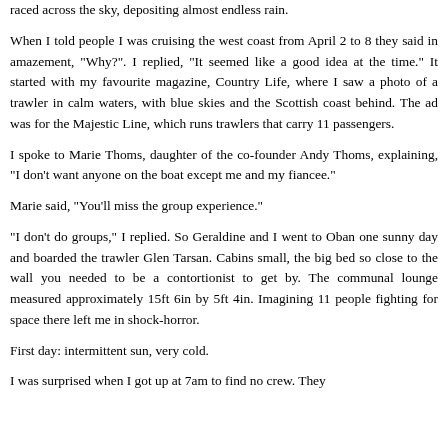raced across the sky, depositing almost endless rain.
When I told people I was cruising the west coast from April 2 to 8 they said in amazement, "Why?". I replied, "It seemed like a good idea at the time." It started with my favourite magazine, Country Life, where I saw a photo of a trawler in calm waters, with blue skies and the Scottish coast behind. The ad was for the Majestic Line, which runs trawlers that carry 11 passengers.
I spoke to Marie Thoms, daughter of the co-founder Andy Thoms, explaining, "I don't want anyone on the boat except me and my fiancee."
Marie said, "You'll miss the group experience."
"I don't do groups," I replied. So Geraldine and I went to Oban one sunny day and boarded the trawler Glen Tarsan. Cabins small, the big bed so close to the wall you needed to be a contortionist to get by. The communal lounge measured approximately 15ft 6in by 5ft 4in. Imagining 11 people fighting for space there left me in shock-horror.
First day: intermittent sun, very cold.
I was surprised when I got up at 7am to find no crew. They